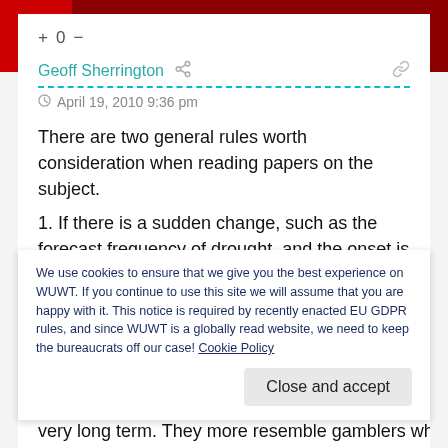Navigation bar with home, menu, and search icons
+ 0 −
Geoff Sherrington
April 19, 2010 9:36 pm
There are two general rules worth consideration when reading papers on the subject.
1. If there is a sudden change, such as the forecast frequency of drought, and the onset is coincident with the date of the
We use cookies to ensure that we give you the best experience on WUWT. If you continue to use this site we will assume that you are happy with it. This notice is required by recently enacted EU GDPR rules, and since WUWT is a globally read website, we need to keep the bureaucrats off our case! Cookie Policy
Close and accept
very long term. They more resemble gamblers who sit up all